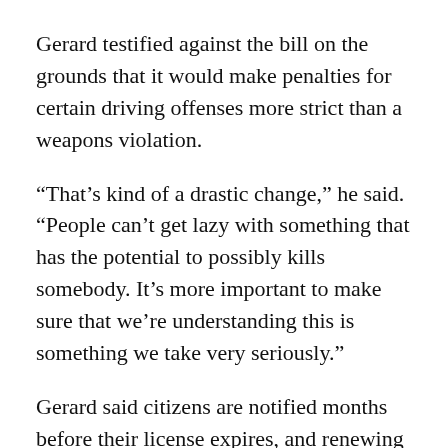Gerard testified against the bill on the grounds that it would make penalties for certain driving offenses more strict than a weapons violation.
“That’s kind of a drastic change,” he said. “People can’t get lazy with something that has the potential to possibly kills somebody. It’s more important to make sure that we’re understanding this is something we take very seriously.”
Gerard said citizens are notified months before their license expires, and renewing the license takes a quick visit to the county clerk’s office.
House Bill 4331 would allow Michiganders to